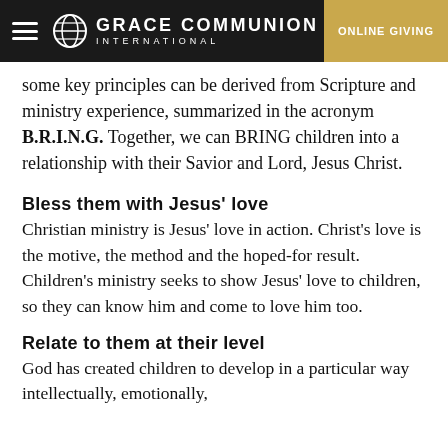Grace Communion International | Online Giving
some key principles can be derived from Scripture and ministry experience, summarized in the acronym B.R.I.N.G. Together, we can BRING children into a relationship with their Savior and Lord, Jesus Christ.
Bless them with Jesus' love
Christian ministry is Jesus' love in action. Christ's love is the motive, the method and the hoped-for result. Children's ministry seeks to show Jesus' love to children, so they can know him and come to love him too.
Relate to them at their level
God has created children to develop in a particular way intellectually, emotionally,